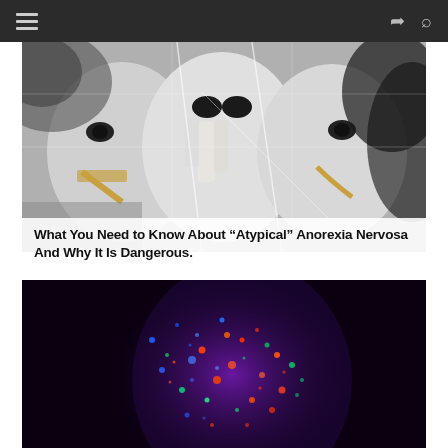Navigation bar with hamburger menu, share icon, and search icon
[Figure (photo): Black and white street art mural of multiple fragmented faces, with gold accents]
What You Need to Know About “Atypical” Anorexia Nervosa And Why It Is Dangerous.
[Figure (photo): Close-up portrait of a person's face covered in colorful neon/UV glitter spots against a dark background]